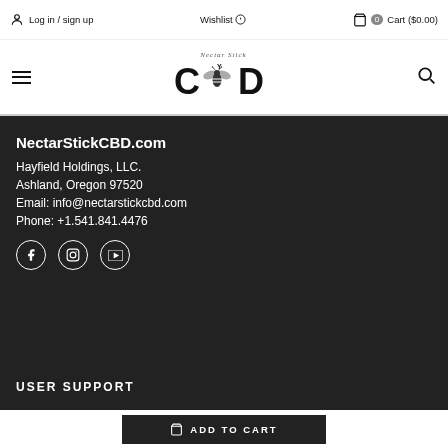Log in / sign up   Wishlist   Cart ($0.00)
[Figure (logo): Nectar Stick CBD logo with bee graphic and text CYD]
NectarStickCBD.com
Hayfield Holdings, LLC.
Ashland, Oregon 97520
Email: info@nectarstickcbd.com
Phone: +1.541.841.4476
[Figure (illustration): Social media icons: Facebook, Instagram, YouTube]
USER SUPPORT
ADD TO CART